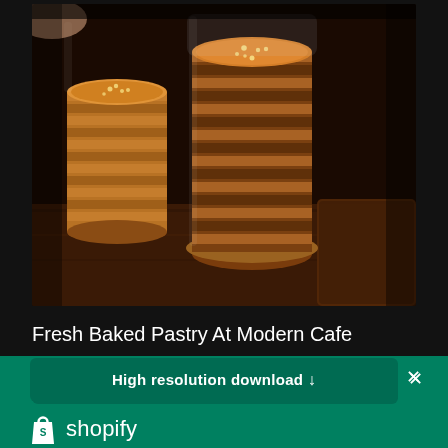[Figure (photo): Stacked round biscuits/cookies in glass jars on a wooden surface at a modern cafe, warm brown tones, moody lighting]
Fresh Baked Pastry At Modern Cafe
High resolution download ↓
[Figure (logo): Shopify logo — white shopping bag icon with 'S' plus white text 'shopify' on green background]
Need an online store for your business?
Start free trial